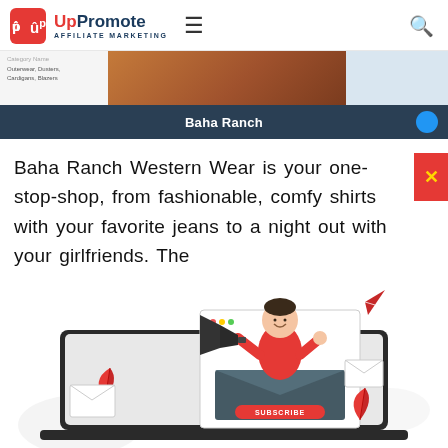UpPromote AFFILIATE MARKETING
[Figure (screenshot): Screenshot strip showing a website sidebar with category links and a brown/leather image, with a dark blue bar at the bottom showing 'Baha Ranch' label and a blue circle button on the right.]
Baha Ranch Western Wear is your one-stop-shop, from fashionable, comfy shirts with your favorite jeans to a night out with your girlfriends. The
[Figure (illustration): Illustration of a person in a red sweater holding a megaphone, emerging from an envelope on a laptop screen, with a red paper airplane, decorative leaves, envelopes, and a Subscribe button. Email marketing concept illustration.]